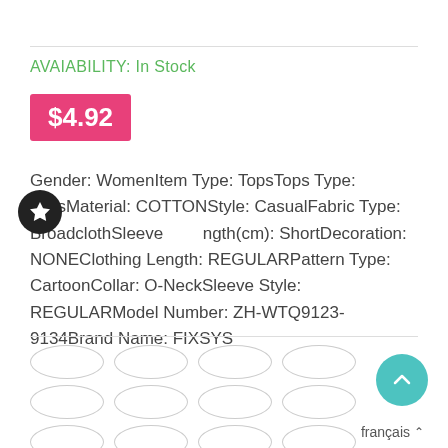AVAIABILITY: In Stock
$4.92
Gender: WomenItem Type: TopsTops Type: TeesMaterial: COTTONStyle: CasualFabric Type: BroadclothSleeve Length(cm): ShortDecoration: NONEClothing Length: REGULARPattern Type: CartoonCollar: O-NeckSleeve Style: REGULARModel Number: ZH-WTQ9123-9134Brand Name: FIXSYS
[Figure (other): Grid of oval/ellipse size selector buttons (empty, no labels), arranged in rows]
français